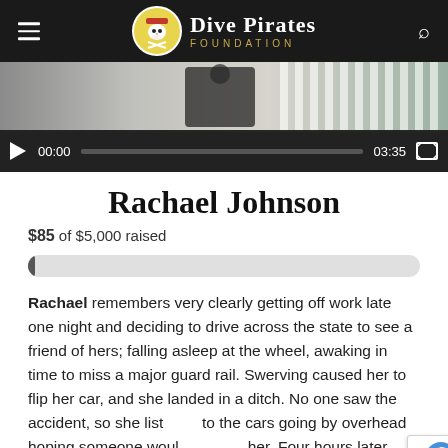Dive Pirates Foundation
[Figure (screenshot): Video player showing a person standing outdoors near a white fence railing. Controls show 00:00 current time and 03:35 total duration with play button and fullscreen icon.]
Rachael Johnson
$85 of $5,000 raised
Rachael remembers very clearly getting off work late one night and deciding to drive across the state to see a friend of hers; falling asleep at the wheel, awaking in time to miss a major guard rail. Swerving caused her to flip her car, and she landed in a ditch. No one saw the accident, so she listened to the cars going by overhead hoping someone would stop for her. Four hours later help came, and she credits those four